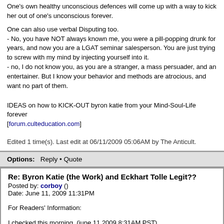One's own healthy unconscious defences will come up with a way to kick her out of one's unconscious forever.
One can also use verbal Disputing too.
- No, you have NOT always known me, you were a pill-popping drunk for years, and now you are a LGAT seminar salesperson. You are just trying to screw with my mind by injecting yourself into it.
- no, I do not know you, as you are a stranger, a mass persuader, and an entertainer. But I know your behavior and methods are atrocious, and want no part of them.
IDEAS on how to KICK-OUT byron katie from your Mind-Soul-Life forever [forum.culteducation.com]
Edited 1 time(s). Last edit at 06/11/2009 05:06AM by The Anticult.
Options:   Reply • Quote
Re: Byron Katie (the Work) and Eckhart Tolle Legit??
Posted by: corboy ()
Date: June 11, 2009 11:31PM
For Readers' Information:
I checked this morning, (june 11 2009 8:31AM PST)
Guruphiliac's forum and found this: